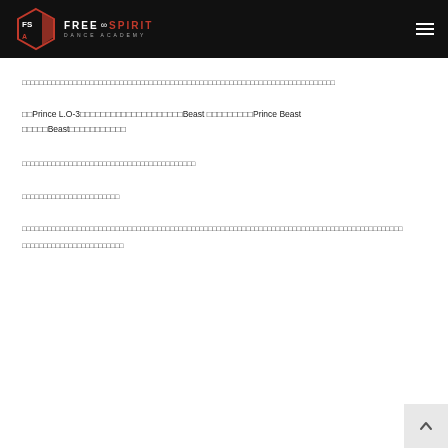Free Infinity Spirit Dance Academy
Thai text paragraph (box characters representing Thai script)
xxPrince L.O-3xxxxxxxxxxxxxxxxxxxxxxBeast xxxxxxxxxPrince Beast xxxxxBeastxxxxxxxxxxx
Thai text paragraph (box characters)
Thai text paragraph (box characters)
Thai text paragraph (box characters)
Thai text paragraph (box characters)